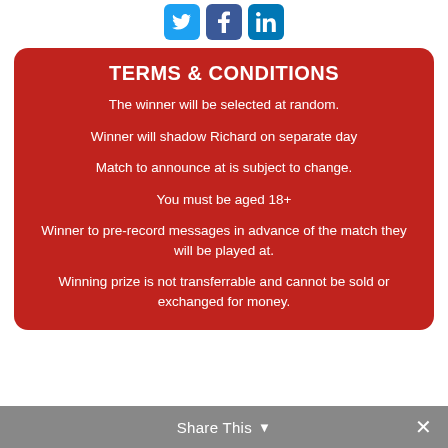[Figure (other): Social media share buttons: Twitter (blue bird), Facebook (blue f), LinkedIn (blue in)]
TERMS & CONDITIONS
The winner will be selected at random.
Winner will shadow Richard on separate day
Match to announce at is subject to change.
You must be aged 18+
Winner to pre-record messages in advance of the match they will be played at.
Winning prize is not transferrable and cannot be sold or exchanged for money.
Share This ∨  ✕